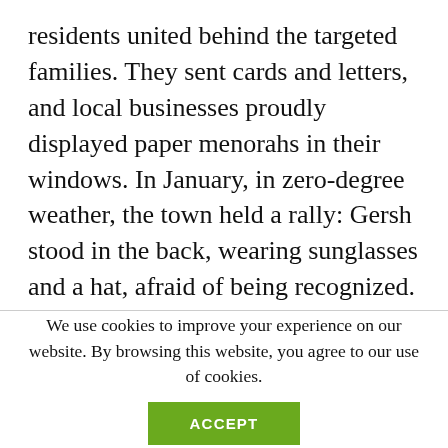residents united behind the targeted families. They sent cards and letters, and local businesses proudly displayed paper menorahs in their windows. In January, in zero-degree weather, the town held a rally: Gersh stood in the back, wearing sunglasses and a hat, afraid of being recognized. The outpouring of support, she says, gave her the “most overwhelming sense of peace.”
We use cookies to improve your experience on our website. By browsing this website, you agree to our use of cookies.